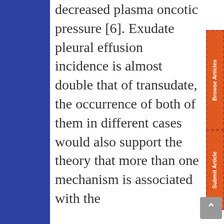decreased plasma oncotic pressure [6]. Exudate pleural effusion incidence is almost double that of transudate, the occurrence of both of them in different cases would also support the theory that more than one mechanism is associated with the development of